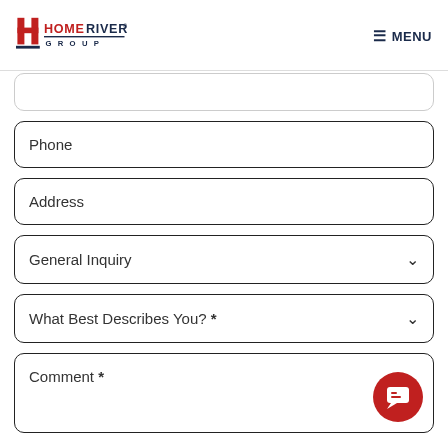HomeRiver Group — MENU
Phone
Address
General Inquiry
What Best Describes You? *
Comment *